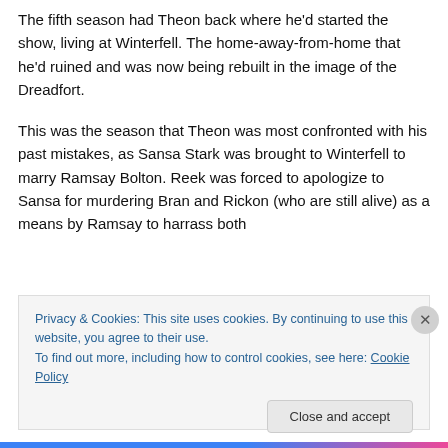The fifth season had Theon back where he'd started the show, living at Winterfell. The home-away-from-home that he'd ruined and was now being rebuilt in the image of the Dreadfort.
This was the season that Theon was most confronted with his past mistakes, as Sansa Stark was brought to Winterfell to marry Ramsay Bolton. Reek was forced to apologize to Sansa for murdering Bran and Rickon (who are still alive) as a means by Ramsay to harrass both
Privacy & Cookies: This site uses cookies. By continuing to use this website, you agree to their use.
To find out more, including how to control cookies, see here: Cookie Policy
Close and accept